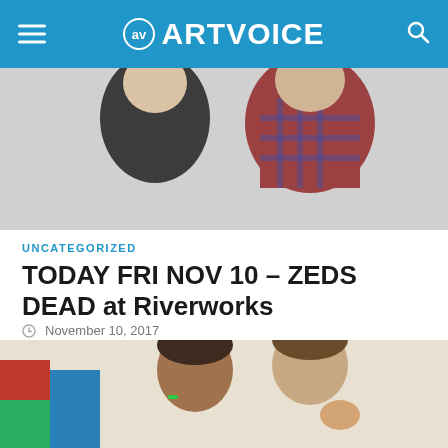ARTVOICE
[Figure (photo): Two people standing side by side, one in a black shirt and one in a red plaid shirt, against a light background]
UNCATEGORIZED
TODAY FRI NOV 10 – ZEDS DEAD at Riverworks
November 10, 2017
Toronto DJs Hook and DC will be bringing their diverse variety of EDM genres that combine aspects of UK garage, house, electro house, hip-hop, glitch, drum and...
[Figure (photo): Two children looking down at something, one with green hair clips]